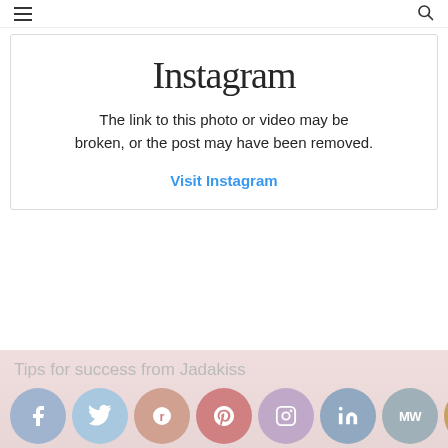≡  [search icon]
[Figure (screenshot): Instagram embed placeholder showing the Instagram logo in script font, with message 'The link to this photo or video may be broken, or the post may have been removed.' and a 'Visit Instagram' link in blue.]
The link to this photo or video may be broken, or the post may have been removed.
Visit Instagram
Tips for success from Jadakiss
[Figure (infographic): Row of social media share icons: Facebook, Twitter, Reddit, Pinterest, Instagram, LinkedIn, MW, and one more (orange).]